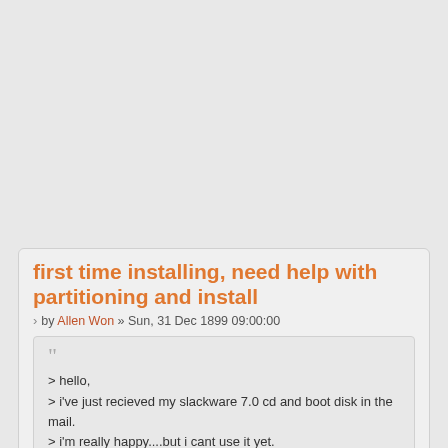first time installing, need help with partitioning and install
by Allen Won » Sun, 31 Dec 1899 09:00:00
> hello,
> i've just recieved my slackware 7.0 cd and boot disk in the mail.
> i'm really happy....but i cant use it yet.
> i need to partition my harddrive first, and i was told there is a program
> called something like "fips" or somethign that can do this, instead of